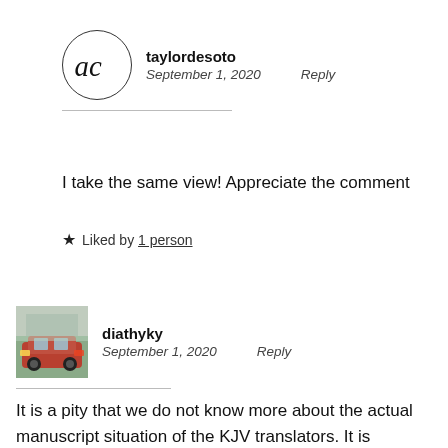[Figure (illustration): Avatar circle with cursive initials 'ac' for user taylordesoto]
taylordesoto
September 1, 2020    Reply
I take the same view! Appreciate the comment
★ Liked by 1 person
[Figure (photo): Profile photo of a red classic car, avatar for diathyky]
diathyky
September 1, 2020    Reply
It is a pity that we do not know more about the actual manuscript situation of the KJV translators. It is assumed that many of the manuscripts they had available to them